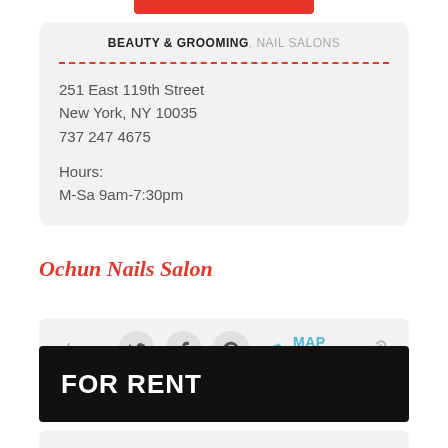BEAUTY & GROOMING, NAIL SALONS
251 East 119th Street
New York, NY 10035
737 247 4675
Hours:
M-Sa 9am-7:30pm
Ochun Nails Salon
share:
MAP IT!
FOR RENT